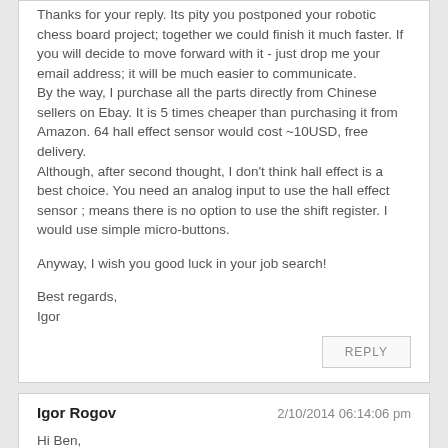Thanks for your reply. Its pity you postponed your robotic chess board project; together we could finish it much faster. If you will decide to move forward with it - just drop me your email address; it will be much easier to communicate.
By the way, I purchase all the parts directly from Chinese sellers on Ebay. It is 5 times cheaper than purchasing it from Amazon. 64 hall effect sensor would cost ~10USD, free delivery.
Although, after second thought, I don't think hall effect is a best choice. You need an analog input to use the hall effect sensor ; means there is no option to use the shift register. I would use simple micro-buttons.

Anyway, I wish you good luck in your job search!

Best regards,
Igor
REPLY
Igor Rogov
2/10/2014 06:14:06 pm
Hi Ben,